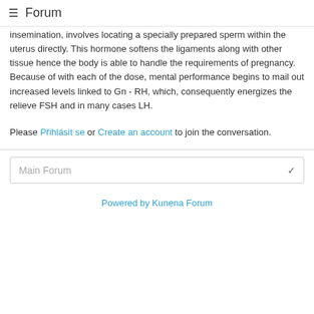≡ Forum
insemination, involves locating a specially prepared sperm within the uterus directly. This hormone softens the ligaments along with other tissue hence the body is able to handle the requirements of pregnancy. Because of with each of the dose, mental performance begins to mail out increased levels linked to Gn - RH, which, consequently energizes the relieve FSH and in many cases LH.
Please Přihlásit se or Create an account to join the conversation.
Main Forum
Powered by Kunena Forum